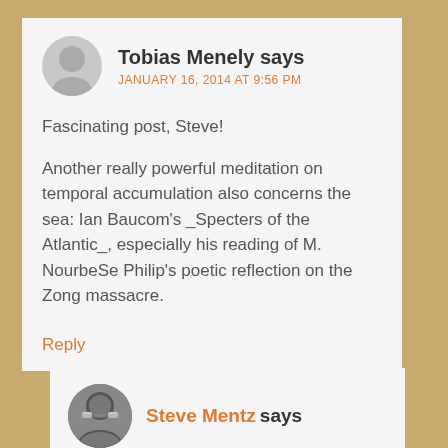Tobias Menely says
JANUARY 16, 2014 AT 9:56 PM
Fascinating post, Steve!
Another really powerful meditation on temporal accumulation also concerns the sea: Ian Baucom's _Specters of the Atlantic_, especially his reading of M. NourbeSe Philip's poetic reflection on the Zong massacre.
Reply
Steve Mentz says